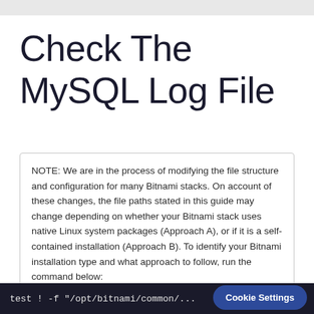Check The MySQL Log File
NOTE: We are in the process of modifying the file structure and configuration for many Bitnami stacks. On account of these changes, the file paths stated in this guide may change depending on whether your Bitnami stack uses native Linux system packages (Approach A), or if it is a self-contained installation (Approach B). To identify your Bitnami installation type and what approach to follow, run the command below:
test ! -f "/opt/bitnami/common/..."